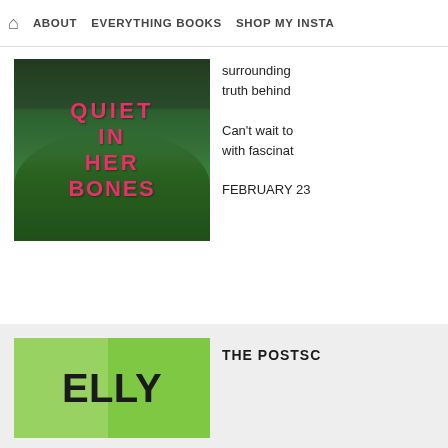🏠  ABOUT    EVERYTHING BOOKS    SHOP MY INSTA
[Figure (photo): Book cover of 'Quiet in Her Bones' — a lush green tropical plant scene with pink art-deco style text reading QUIET IN HER BONES]
surrounding truth behind
Can't wait to with fascinat
FEBRUARY 23
[Figure (photo): Book cover partially shown with green background and bold black text reading ELLY]
THE POSTSC